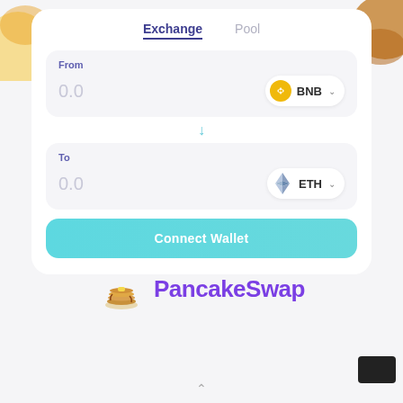[Figure (screenshot): PancakeSwap exchange UI showing a token swap interface with From (BNB) and To (ETH) fields, both showing 0.0, with a Connect Wallet button in teal. Below the card is the PancakeSwap logo with pancake stack icon and purple bold text.]